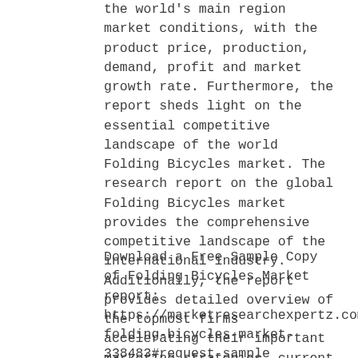the world's main region market conditions, with the product price, production, demand, profit and market growth rate. Furthermore, the report sheds light on the essential competitive landscape of the world Folding Bicycles market. The research report on the global Folding Bicycles market provides the comprehensive competitive landscape of the international industry. Additionally, the report provides detailed overview of the topmost firms accelerating their important marketing strategies, current developments and Folding Bicycles industrial contribution in both historic and current conditions.
Download a Free Sample Copy of Folding Bicycles Market report: https://marketresearchexpertz.com/report/global-folding-bicycles-market-338483#request-sample